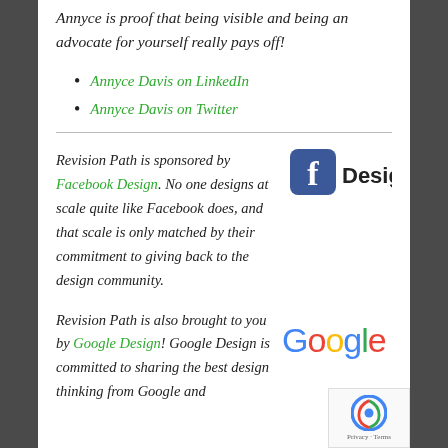Annyce is proof that being visible and being an advocate for yourself really pays off!
Annyce Davis on LinkedIn
Annyce Davis on Twitter
Revision Path is sponsored by Facebook Design. No one designs at scale quite like Facebook does, and that scale is only matched by their commitment to giving back to the design community.
[Figure (logo): Facebook Design logo with blue Facebook 'f' icon and the word 'Design' in bold]
Revision Path is also brought to you by Google Design! Google Design is committed to sharing the best design thinking from Google and
[Figure (logo): Google wordmark logo in multicolor letters]